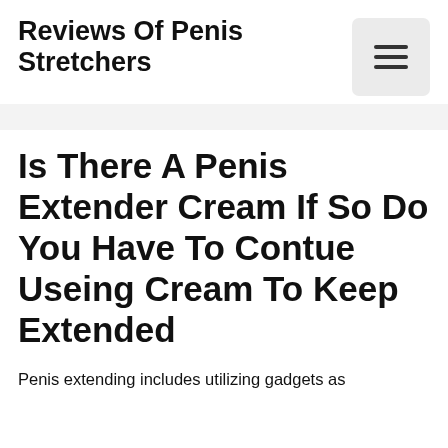Reviews Of Penis Stretchers
Is There A Penis Extender Cream If So Do You Have To Contue Useing Cream To Keep Extended
Penis extending includes utilizing gadgets as